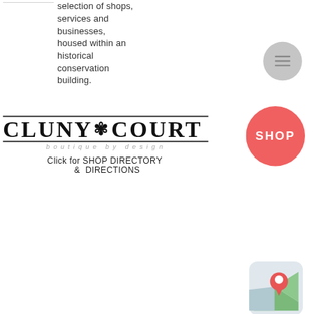selection of shops, services and businesses, housed within an historical conservation building.
[Figure (illustration): Gray circular hamburger menu icon (three horizontal lines)]
[Figure (logo): Cluny Court logo with star between CLUNY and COURT, decorative horizontal rules, subtitle 'boutique by design']
Click for SHOP DIRECTORY & DIRECTIONS
[Figure (illustration): Red circular button with white text 'SHOP']
[Figure (illustration): Map pin icon on a stylized map with green and grey regions]
DIRECT CALL F&B CLICK
[Figure (illustration): Fork and knife cutlery icon in dark navy outline]
GOURMET GROCERS
Cold Storage (24 Hr) #01-
[Figure (illustration): Blue circular button with three white dots (more options)]
[Figure (illustration): Small fork and knife cutlery icon]